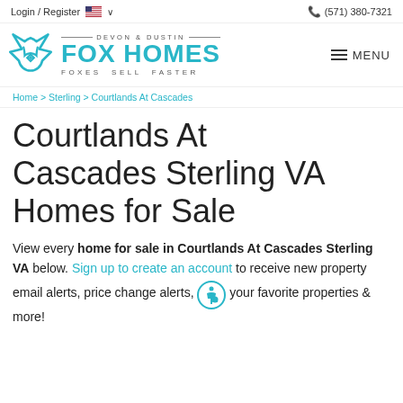Login / Register    🇺🇸 ∨    (571) 380-7321
[Figure (logo): Devon & Dustin Fox Homes logo with teal fox icon and text 'FOX HOMES - FOXES SELL FASTER']
MENU
Home > Sterling > Courtlands At Cascades
Courtlands At Cascades Sterling VA Homes for Sale
View every home for sale in Courtlands At Cascades Sterling VA below. Sign up to create an account to receive new property email alerts, price change alerts, your favorite properties & more!